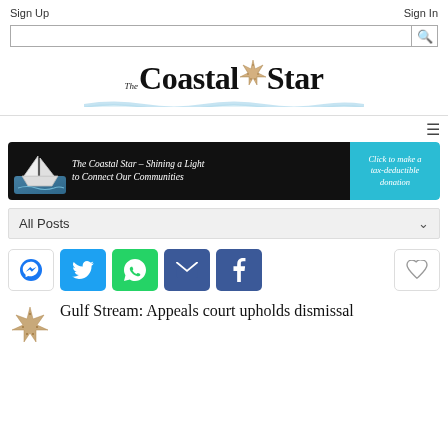Sign Up    Sign In
[Figure (logo): The Coastal Star newspaper logo with starfish and wave watercolor accent]
[Figure (infographic): Banner ad: The Coastal Star – Shining a Light to Connect Our Communities. Click to make a tax-deductible donation.]
All Posts
[Figure (infographic): Social share buttons: Messenger, Twitter, WhatsApp, Email, Facebook, and a heart/like button]
Gulf Stream: Appeals court upholds dismissal